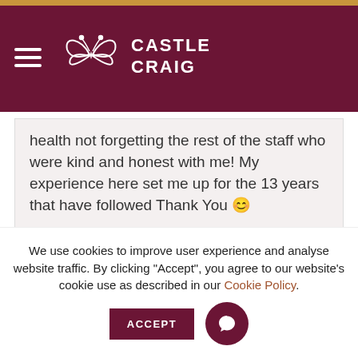Castle Craig
health not forgetting the rest of the staff who were kind and honest with me! My experience here set me up for the 13 years that have followed Thank You 😊
— Freddie
Thank you for all the help and guidance you've
We use cookies to improve user experience and analyse website traffic. By clicking "Accept", you agree to our website's cookie use as described in our Cookie Policy.